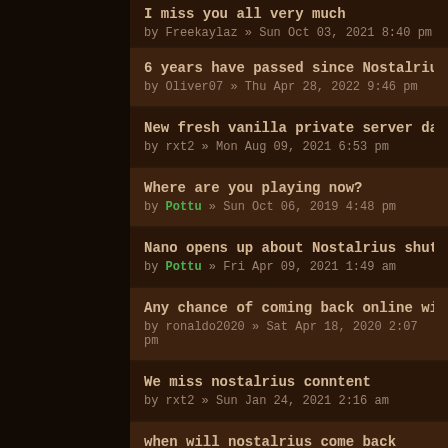I miss you all very much
by Freekaylaz » Sun Oct 03, 2021 8:40 pm
6 years have passed since Nostalrius shut down
by Oliver07 » Thu Apr 28, 2022 9:46 pm
New fresh vanilla private server darrowshire
by rxt2 » Mon Aug 09, 2021 6:53 pm
Where are you playing now?
by Pottu » Sun Oct 06, 2019 4:48 pm
Nano opens up about Nostalrius shutdown
by Pottu » Fri Apr 09, 2021 1:49 am
Any chance of coming back online with new vanilla re
by ronaldo2020 » Sat Apr 18, 2020 2:07 pm
We miss nostalrius conntent
by rxt2 » Sun Jan 24, 2021 2:16 am
when will nostalrius come back
by friendlinzh » Wed Jun 17, 2020 3:27 am